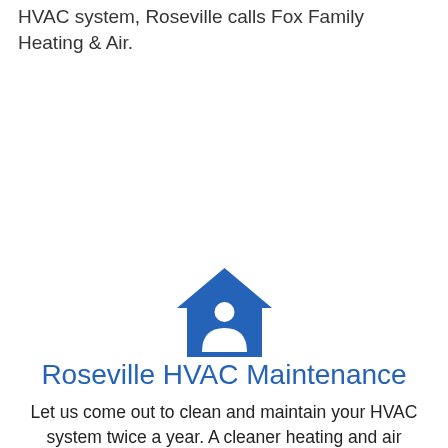HVAC system, Roseville calls Fox Family Heating & Air.
[Figure (illustration): Blue icon of a house with a person/user silhouette inside, representing home HVAC service]
Roseville HVAC Maintenance
Let us come out to clean and maintain your HVAC system twice a year. A cleaner heating and air system runs more efficiently after a furnace or AC tune-up, reducing your utility bills.